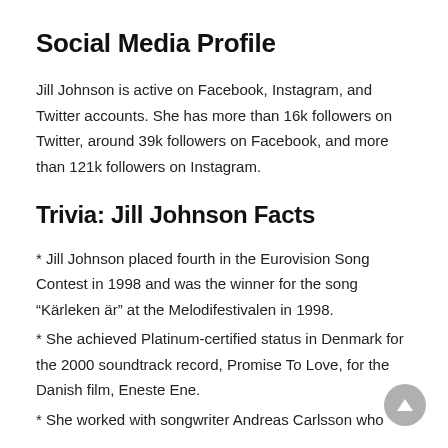Social Media Profile
Jill Johnson is active on Facebook, Instagram, and Twitter accounts. She has more than 16k followers on Twitter, around 39k followers on Facebook, and more than 121k followers on Instagram.
Trivia: Jill Johnson Facts
* Jill Johnson placed fourth in the Eurovision Song Contest in 1998 and was the winner for the song “Kärleken är” at the Melodifestivalen in 1998.
* She achieved Platinum-certified status in Denmark for the 2000 soundtrack record, Promise To Love, for the Danish film, Eneste Ene.
* She worked with songwriter Andreas Carlsson who